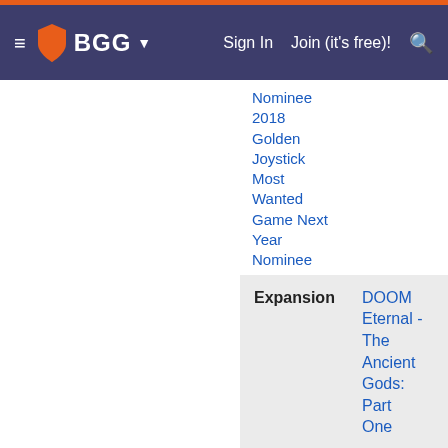BGG — Sign In | Join (it's free)!
Nominee 2018 Golden Joystick Most Wanted Game Next Year Nominee
2019 Game Critics Best Action Game of the Year Winner
2019 Game Critics Best of Show Nominee
Show More »
| Expansion |  |
| --- | --- |
| Expansion | DOOM Eternal - The Ancient Gods: Part One |